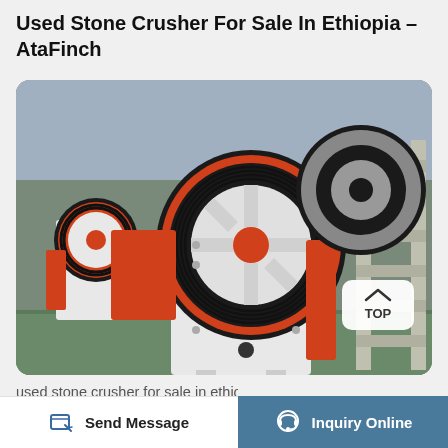Used Stone Crusher For Sale In Ethiopia – AtaFinch
[Figure (photo): Industrial jaw stone crusher machines in white and red colors displayed in a factory/warehouse setting. Multiple crusher units visible with large flywheels and red painted frame components. A 'TOP' navigation button overlay is visible in the bottom right of the image.]
used stone crusher for sale in ethiopia stone
Send Message
Inquiry Online